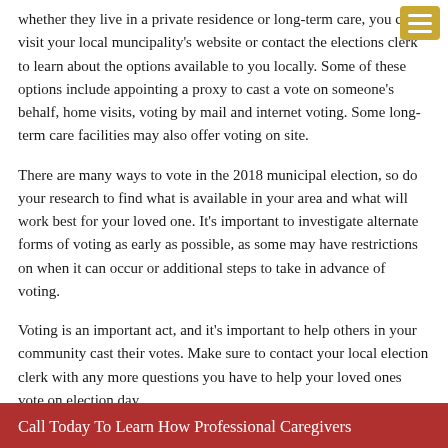whether they live in a private residence or long-term care, you can visit your local muncipality's website or contact the elections clerk to learn about the options available to you locally. Some of these options include appointing a proxy to cast a vote on someone's behalf, home visits, voting by mail and internet voting. Some long-term care facilities may also offer voting on site.
There are many ways to vote in the 2018 municipal election, so do your research to find what is available in your area and what will work best for your loved one. It's important to investigate alternate forms of voting as early as possible, as some may have restrictions on when it can occur or additional steps to take in advance of voting.
Voting is an important act, and it's important to help others in your community cast their votes. Make sure to contact your local election clerk with any more questions you have to help your loved ones vote on election day.
Call Today To Learn How Professional Caregivers